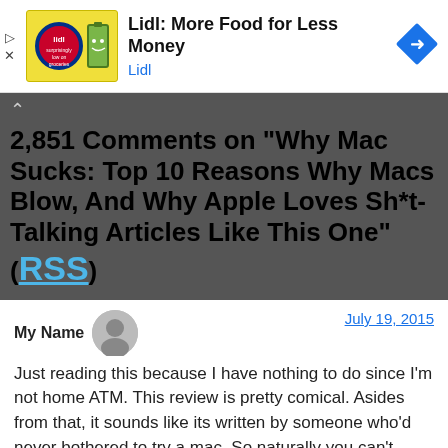[Figure (other): Lidl advertisement banner with yellow logo box, battery mascot icon, ad text 'Lidl: More Food for Less Money' and blue navigation arrow icon]
2,851 Comments on “Why Mac Sucks: Top 10 Reasons Why Macs Blow, And Why Apple Loves Sh*t-Talking Articles Like This One” (RSS)
My Name
July 19, 2015
Just reading this because I have nothing to do since I’m not home ATM. This review is pretty comical. Asides from that, it sounds like its written by someone who’d never bothered to try a mac. So naturally you can’t expect anything. @JP, who’s review you can read